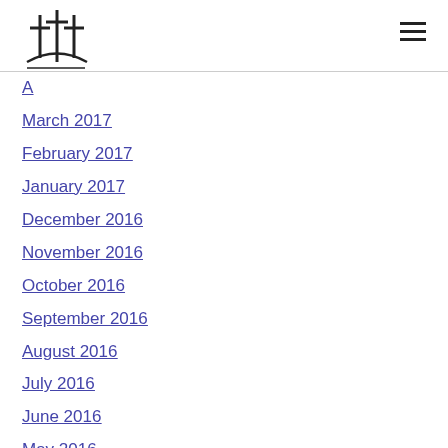[Church logo and hamburger menu]
March 2017
February 2017
January 2017
December 2016
November 2016
October 2016
September 2016
August 2016
July 2016
June 2016
May 2016
April 2016
March 2016
February 2016
January 2016
December 2015